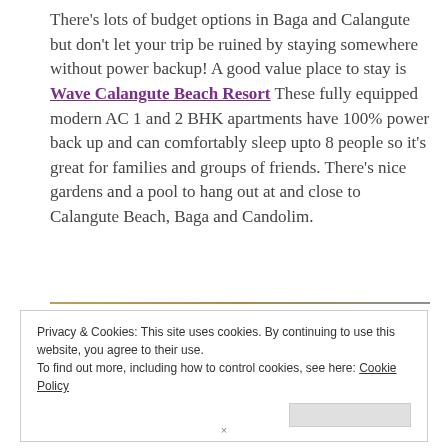There's lots of budget options in Baga and Calangute but don't let your trip be ruined by staying somewhere without power backup! A good value place to stay is Wave Calangute Beach Resort These fully equipped modern AC 1 and 2 BHK apartments have 100% power back up and can comfortably sleep upto 8 people so it's great for families and groups of friends. There's nice gardens and a pool to hang out at and close to Calangute Beach, Baga and Candolim.
Privacy & Cookies: This site uses cookies. By continuing to use this website, you agree to their use. To find out more, including how to control cookies, see here: Cookie Policy